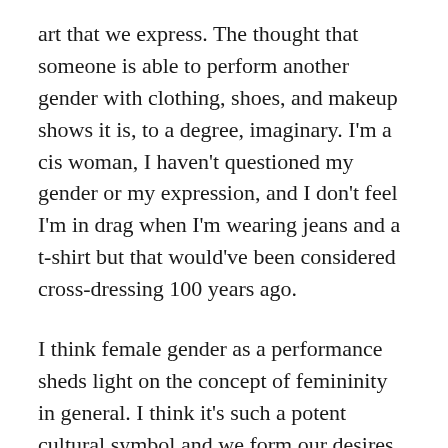art that we express. The thought that someone is able to perform another gender with clothing, shoes, and makeup shows it is, to a degree, imaginary. I'm a cis woman, I haven't questioned my gender or my expression, and I don't feel I'm in drag when I'm wearing jeans and a t-shirt but that would've been considered cross-dressing 100 years ago.
I think female gender as a performance sheds light on the concept of femininity in general. I think it's such a potent cultural symbol and we form our desires from this place that isn't fully conscious. Whether your birth assigned gender was male or female, non-binary people from both camps will wear high heels. From the outside, it looks like it's a color on the palette of gender. It's as if high heels were the color red on the palette and